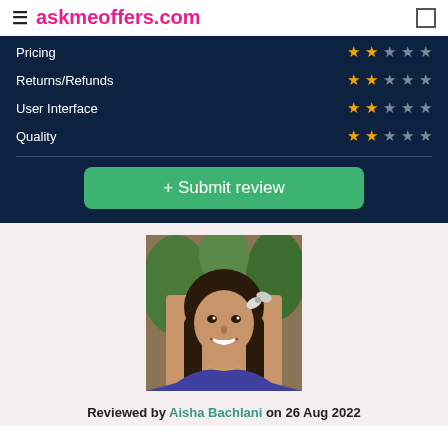askmeoffers.com
| Category | Rating |
| --- | --- |
| Pricing | 2/5 stars |
| Returns/Refunds | 2/5 stars |
| User Interface | 2/5 stars |
| Quality | 2/5 stars |
+ Submit review
[Figure (photo): Profile photo of Aisha Bachlani, a woman with long dark hair, smiling, wearing a blue top, outdoors with green foliage in background]
Reviewed by Aisha Bachlani on 26 Aug 2022